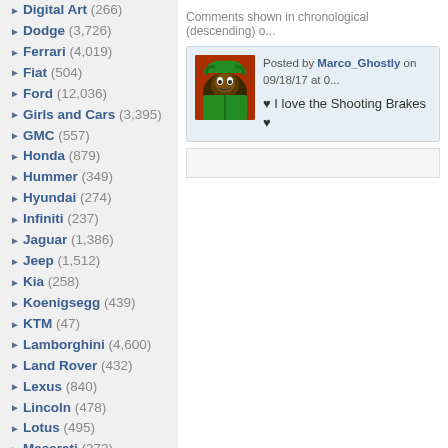Digital Art (266)
Dodge (3,726)
Ferrari (4,019)
Fiat (504)
Ford (12,036)
Girls and Cars (3,395)
GMC (557)
Honda (879)
Hummer (349)
Hyundai (274)
Infiniti (237)
Jaguar (1,386)
Jeep (1,512)
Kia (258)
Koenigsegg (439)
KTM (47)
Lamborghini (4,600)
Land Rover (432)
Lexus (840)
Lincoln (478)
Lotus (495)
Maserati (373)
Mazda (552)
McLaren (755)
Mercedes (2,964)
Mini Cooper (332)
Mitsubishi (517)
Motorcycles (Link)
Nissan (1,497)
Oldsmobile (492)
Comments shown in chronological (descending) o...
Posted by Marco_Ghostly on 09/18/17 at 0... ♥ I love the Shooting Brakes ♥